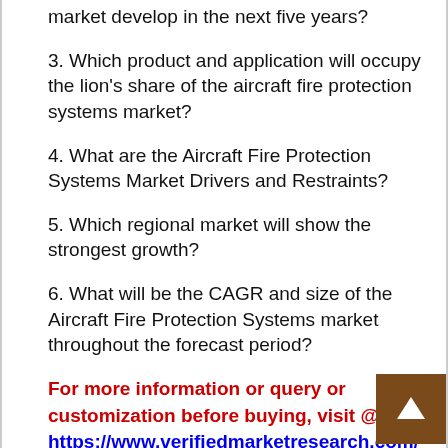market develop in the next five years?
3. Which product and application will occupy the lion's share of the aircraft fire protection systems market?
4. What are the Aircraft Fire Protection Systems Market Drivers and Restraints?
5. Which regional market will show the strongest growth?
6. What will be the CAGR and size of the Aircraft Fire Protection Systems market throughout the forecast period?
For more information or query or customization before buying, visit @ https://www.verifiedmarketresearch.com/product/aircraft-fire-protection-systems-market/